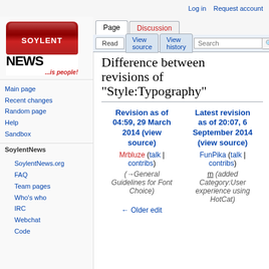Log in  Request account
[Figure (logo): Soylent News logo — red candy bar with white SOYLENT text, black NEWS text below, red tagline '...is people!']
Difference between revisions of "Style:Typography"
| Revision as of 04:59, 29 March 2014 (view source) | Latest revision as of 20:07, 6 September 2014 (view source) |
| --- | --- |
| Mrbluze (talk | contribs) | FunPika (talk | contribs) |
| (→General Guidelines for Font Choice) | m (added Category:User experience using HotCat) |
| ← Older edit |  |
Main page
Recent changes
Random page
Help
Sandbox
SoylentNews.org
FAQ
Team pages
Who's who
IRC
Webchat
Code